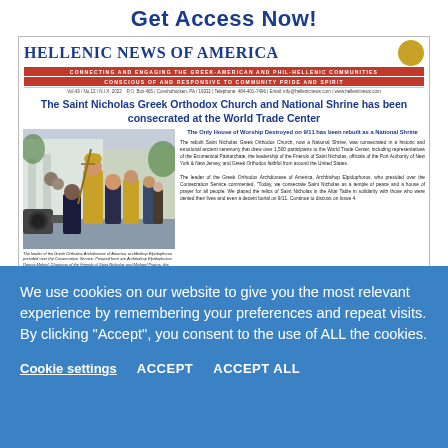Get Access Now!
[Figure (screenshot): Hellenic News of America newspaper front page showing masthead, red bars with taglines, small info line, headline about Saint Nicholas Greek Orthodox Church and National Shrine consecration at World Trade Center, a photo of the consecration ceremony with Archbishop Elpidophoros, and article text.]
The leader of the Greek Orthodox Archdiocese of America, archbishop Elpidophoros presided over the Consecration Service. Pictured here are Archbishop Elpidophoros, Dennis Mehiel, Chairman of the Friends of Saint Nicholas and Michael Psaros, the current Vice Chairman and Incoming Chairman of the Friends of Saint Nicholas.
We use cookies on our website to give you the most relevant experience by remembering your preferences and repeat visits. By clicking “Accept”, you consent to the use of ALL the cookies.
Cookie settings   ACCEPT   ACCEPT ALL